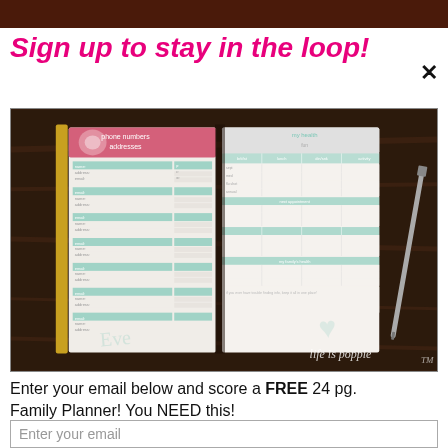Sign up to stay in the loop!
[Figure (photo): Open family planner book on a dark wooden table showing phone numbers/addresses page and my health page, with a pen beside it. Watermark reads 'life is poppie']
Enter your email below and score a FREE 24 pg. Family Planner! You NEED this!
Enter your email